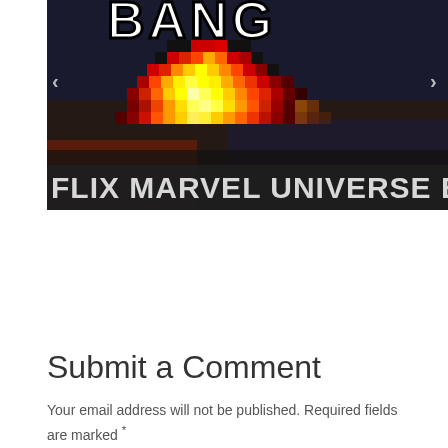[Figure (screenshot): A video thumbnail or screenshot showing a pixelated fire/explosion graphic (8-bit style, red, yellow, orange pixels) against a dark background, with partial text 'BANG' visible at top. A dark bar at the bottom reads 'FLIX MARVEL UNIVERSE EP. 4' in large grey bold letters. Navigation arrows visible on left and right edges.]
Submit a Comment
Your email address will not be published. Required fields are marked *